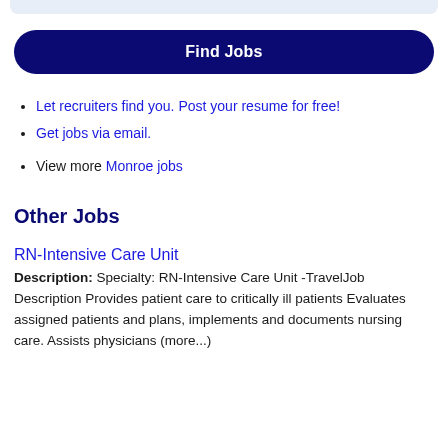[Figure (other): Light blue rounded bar at the top of the page, partial UI element]
Let recruiters find you. Post your resume for free!
Get jobs via email.
View more Monroe jobs
Other Jobs
RN-Intensive Care Unit
Description: Specialty: RN-Intensive Care Unit -TravelJob Description Provides patient care to critically ill patients Evaluates assigned patients and plans, implements and documents nursing care. Assists physicians (more...)